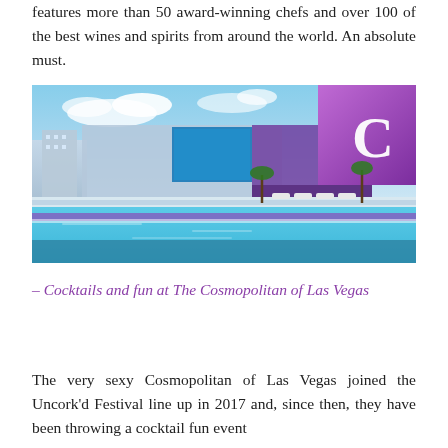features more than 50 award-winning chefs and over 100 of the best wines and spirits from around the world. An absolute must.
[Figure (photo): Exterior view of The Cosmopolitan of Las Vegas hotel and resort, showing a pool area in the foreground, hotel buildings with purple accents, and a large purple billboard with a white letter C in the upper right corner. The sky is blue with clouds.]
– Cocktails and fun at The Cosmopolitan of Las Vegas
The very sexy Cosmopolitan of Las Vegas joined the Uncork'd Festival line up in 2017 and, since then, they have been throwing a cocktail fun event